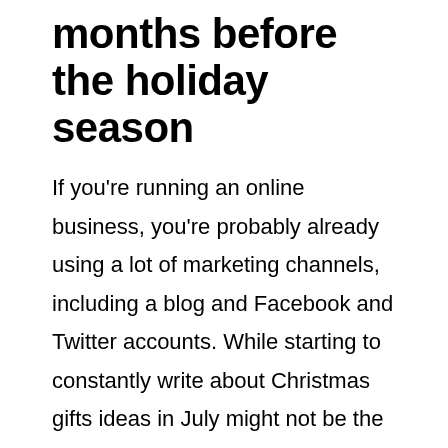months before the holiday season
If you're running an online business, you're probably already using a lot of marketing channels, including a blog and Facebook and Twitter accounts. While starting to constantly write about Christmas gifts ideas in July might not be the brightest idea, early autumn is certainly the time to do that. Introducing your current and potential customers to your new (or old) products while also explaining why they would make a perfect present for the holidays can be regarded as a great help by some of your customers. If you spice it up with promises of some great discounts during the sales period, you can